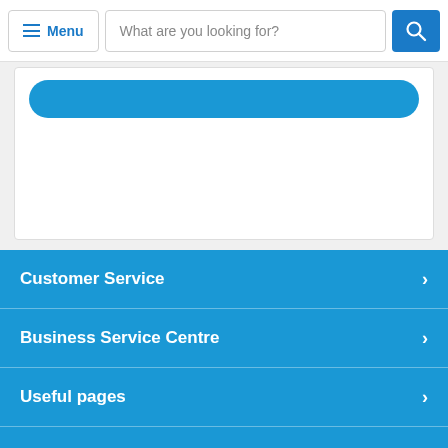Menu | What are you looking for?
[Figure (screenshot): Website navigation bar with Menu button, search box with placeholder 'What are you looking for?', and blue search icon button]
[Figure (screenshot): White card area with a blue rounded button/bar near the top]
Customer Service >
Business Service Centre >
Useful pages >
Top Brands >